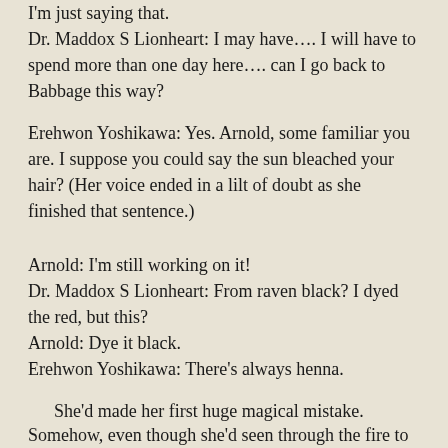I'm just saying that.
Dr. Maddox S Lionheart: I may have.... I will have to spend more than one day here.... can I go back to Babbage this way?
Erehwon Yoshikawa: Yes. Arnold, some familiar you are. I suppose you could say the sun bleached your hair? (Her voice ended in a lilt of doubt as she finished that sentence.)
Arnold: I'm still working on it!
Dr. Maddox S Lionheart: From raven black? I dyed the red, but this?
Arnold: Dye it black.
Erehwon Yoshikawa: There's always henna.
She'd made her first huge magical mistake. Somehow, even though she'd seen through the fire to her husband, she'd blanched her hair. It was embarassing enough to be learning at such and age... Now this? What was she thinking? Why had she tried